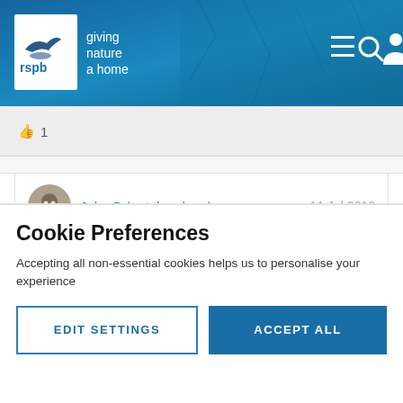[Figure (screenshot): RSPB website header with logo showing a bird silhouette, text 'rspb giving nature a home', and navigation icons (menu, search, user) on a blue textured background]
👍 1
John B (not the sloop)    11 Jul 2010
In reply to Sooty:
Cookie Preferences
Accepting all non-essential cookies helps us to personalise your experience
EDIT SETTINGS
ACCEPT ALL